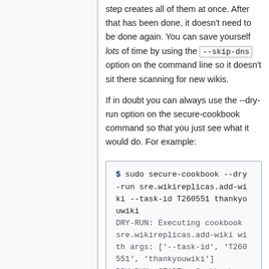step creates all of them at once. After that has been done, it doesn't need to be done again. You can save yourself lots of time by using the --skip-dns option on the command line so it doesn't sit there scanning for new wikis.
If in doubt you can always use the --dry-run option on the secure-cookbook command so that you just see what it would do. For example:
$ sudo secure-cookbook --dry-run sre.wikireplicas.add-wiki --task-id T260551 thankyouwiki
DRY-RUN: Executing cookbook sre.wikireplicas.add-wiki with args: ['--task-id', 'T260551', 'thankyouwiki']
DRY-RUN: START - Cookbook